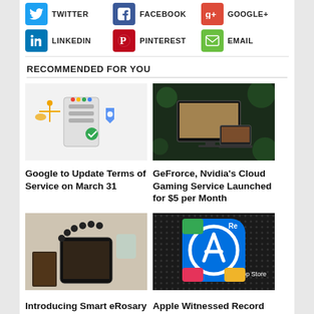TWITTER
FACEBOOK
GOOGLE+
LINKEDIN
PINTEREST
EMAIL
RECOMMENDED FOR YOU
[Figure (photo): Google service illustration with device and security icons]
Google to Update Terms of Service on March 31
[Figure (photo): GeFrorce Nvidia gaming setup with screens in dark green light]
GeFrorce, Nvidia's Cloud Gaming Service Launched for $5 per Month
[Figure (photo): Smart eRosary beads on a smartphone]
Introducing Smart eRosary for Tech-
[Figure (photo): Apple App Store icon close-up on dark dotted background]
Apple Witnessed Record Sales of $1.42